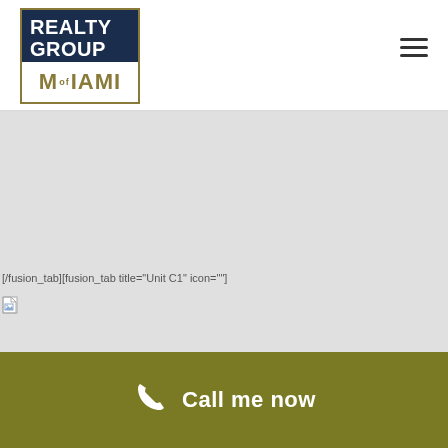[Figure (logo): Realty Group of Miami logo — dark navy blue rectangle on top with white text 'REALTY GROUP', white rectangle on bottom with gold/olive colored text 'of MIAMI', framed with a gold/olive border]
[Figure (other): Hamburger menu icon (three horizontal lines) in top right corner]
[/fusion_tab][fusion_tab title="Unit C1" icon=""]
[Figure (other): Broken image icon (small torn page icon) in the gray content area]
Call me now